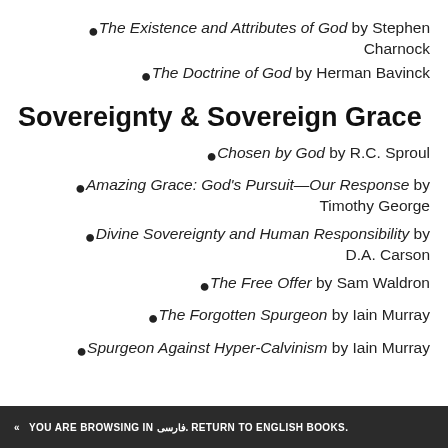The Existence and Attributes of God by Stephen Charnock
The Doctrine of God by Herman Bavinck
Sovereignty & Sovereign Grace
Chosen by God by R.C. Sproul
Amazing Grace: God's Pursuit—Our Response by Timothy George
Divine Sovereignty and Human Responsibility by D.A. Carson
The Free Offer by Sam Waldron
The Forgotten Spurgeon by Iain Murray
Spurgeon Against Hyper-Calvinism by Iain Murray
« YOU ARE BROWSING IN فارسی. RETURN TO ENGLISH BOOKS.